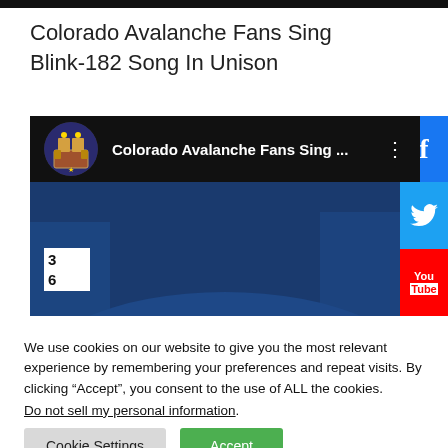Colorado Avalanche Fans Sing Blink-182 Song In Unison
[Figure (screenshot): YouTube video thumbnail showing Colorado Avalanche hockey player wearing blue CCM helmet, with video title 'Colorado Avalanche Fans Sing ...' and social share buttons for Facebook, Twitter, and YouTube on the right side. Score 3-6 visible in top left of video frame.]
We use cookies on our website to give you the most relevant experience by remembering your preferences and repeat visits. By clicking “Accept”, you consent to the use of ALL the cookies.
Do not sell my personal information.